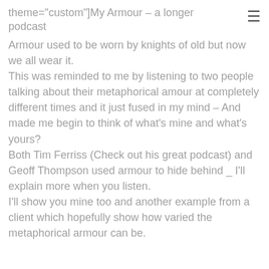theme="custom"]My Armour – a longer podcast
Armour used to be worn by knights of old but now we all wear it.
This was reminded to me by listening to two people talking about their metaphorical amour at completely different times and it just fused in my mind – And made me begin to think of what's mine and what's yours?
Both Tim Ferriss (Check out his great podcast) and Geoff Thompson used armour to hide behind _ I'll explain more when you listen.
I'll show you mine too and another example from a client which hopefully show how varied the metaphorical armour can be.